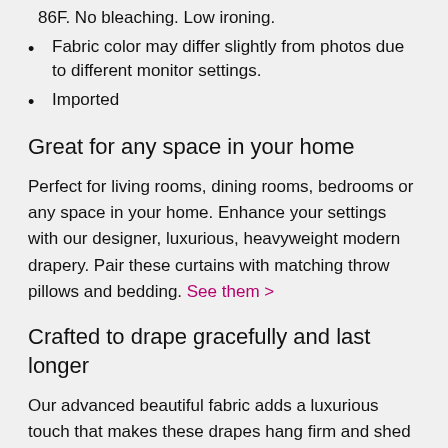86F. No bleaching. Low ironing.
Fabric color may differ slightly from photos due to different monitor settings.
Imported
Great for any space in your home
Perfect for living rooms, dining rooms, bedrooms or any space in your home. Enhance your settings with our designer, luxurious, heavyweight modern drapery. Pair these curtains with matching throw pillows and bedding. See them >
Crafted to drape gracefully and last longer
Our advanced beautiful fabric adds a luxurious touch that makes these drapes hang firm and shed wrinkles. Our proprietary weave technology keeps these curtains looking great up to five years longer than other leading brands. Other brands use thin